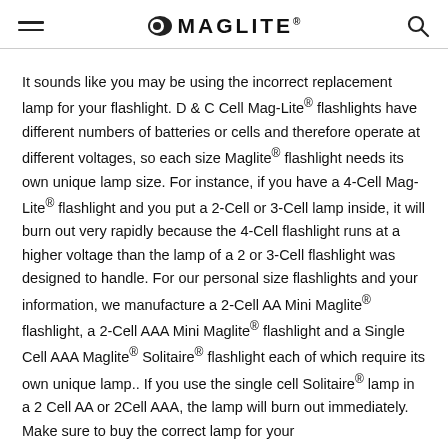MAGLITE
It sounds like you may be using the incorrect replacement lamp for your flashlight. D & C Cell Mag-Lite® flashlights have different numbers of batteries or cells and therefore operate at different voltages, so each size Maglite® flashlight needs its own unique lamp size. For instance, if you have a 4-Cell Mag-Lite® flashlight and you put a 2-Cell or 3-Cell lamp inside, it will burn out very rapidly because the 4-Cell flashlight runs at a higher voltage than the lamp of a 2 or 3-Cell flashlight was designed to handle. For our personal size flashlights and your information, we manufacture a 2-Cell AA Mini Maglite® flashlight, a 2-Cell AAA Mini Maglite® flashlight and a Single Cell AAA Maglite® Solitaire® flashlight each of which require its own unique lamp.. If you use the single cell Solitaire® lamp in a 2 Cell AA or 2Cell AAA, the lamp will burn out immediately. Make sure to buy the correct lamp for your